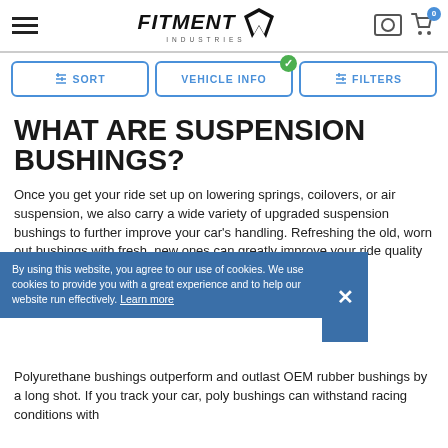Fitment Industries
WHAT ARE SUSPENSION BUSHINGS?
Once you get your ride set up on lowering springs, coilovers, or air suspension, we also carry a wide variety of upgraded suspension bushings to further improve your car's handling. Refreshing the old, [worn out bushings with fresh,] [new ones can greatly improve your ride quality]
By using this website, you agree to our use of cookies. We use cookies to provide you with a great experience and to help our website run effectively. Learn more
Polyurethane bushings outperform and outlast OEM rubber bushings by a long shot. If you track your car, poly bushings can withstand racing conditions with